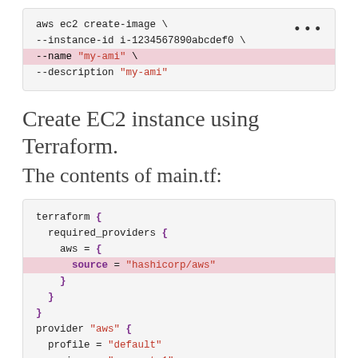[Figure (screenshot): Code block showing AWS CLI command to create an AMI image, with --name line highlighted in pink. A '...' menu icon appears top-right.]
Create EC2 instance using Terraform.
The contents of main.tf:
[Figure (screenshot): Code block showing Terraform main.tf contents with terraform block, required_providers, aws provider block with profile and region, and beginning of resource aws_instance 'ulysses' block.]